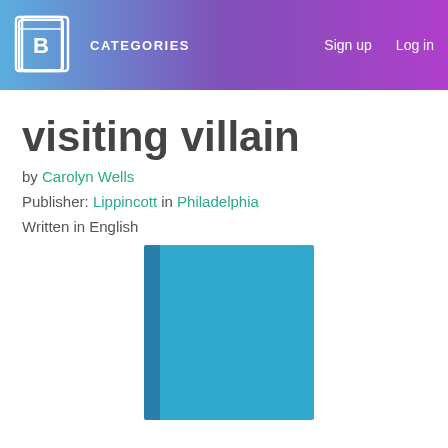CATEGORIES  Sign up  Log in
visiting villain
by Carolyn Wells
Publisher: Lippincott in Philadelphia
Written in English
[Figure (illustration): Blue book cover image, standing upright, solid teal/blue color with a slightly darker spine on the left.]